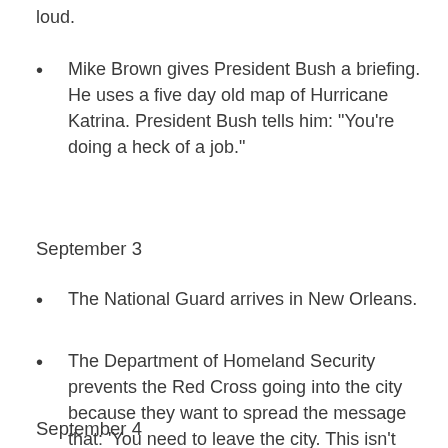loud.
Mike Brown gives President Bush a briefing. He uses a five day old map of Hurricane Katrina. President Bush tells him: "You're doing a heck of a job."
September 3
The National Guard arrives in New Orleans.
The Department of Homeland Security prevents the Red Cross going into the city because they want to spread the message that: 'You need to leave the city. This isn't going to be a sheltering spot.'
September 4